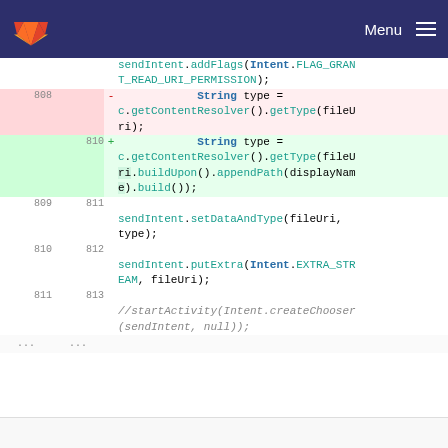GitLab — Menu
[Figure (screenshot): Code diff showing Java/Android code changes. Line 808 removed: String type = c.getContentResolver().getType(fileUri); Line 810 added: String type = c.getContentResolver().getType(fileUri.buildUpon().appendPath(displayName).build()); Lines 809/811, 810/812, 811/813 show context lines with sendIntent.setDataAndType, sendIntent.putExtra, and a commented-out startActivity call.]